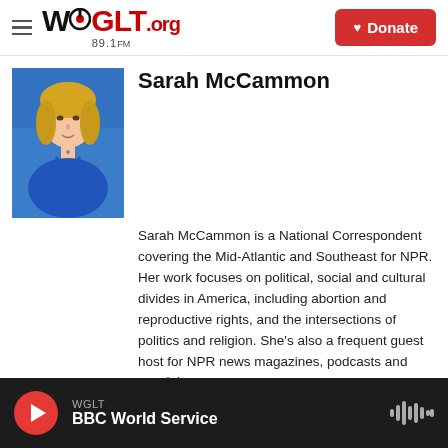WGLT.org 89.1FM — Donate
[Figure (photo): Headshot of Sarah McCammon, a woman with blonde hair wearing a blue top, on a blue background]
Sarah McCammon
Sarah McCammon is a National Correspondent covering the Mid-Atlantic and Southeast for NPR. Her work focuses on political, social and cultural divides in America, including abortion and reproductive rights, and the intersections of politics and religion. She's also a frequent guest host for NPR news magazines, podcasts and special coverage.
See stories by Sarah McCammon
WGLT — BBC World Service